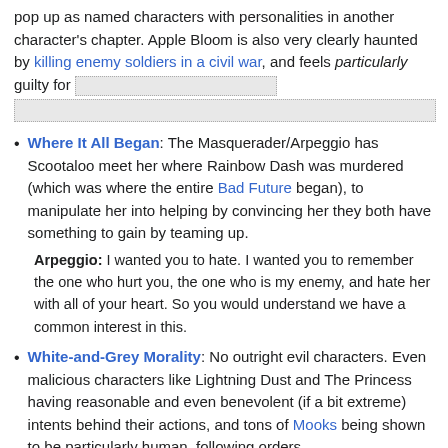pop up as named characters with personalities in another character's chapter. Apple Bloom is also very clearly haunted by killing enemy soldiers in a civil war, and feels particularly guilty for [redacted]
Where It All Began: The Masquerader/Arpeggio has Scootaloo meet her where Rainbow Dash was murdered (which was where the entire Bad Future began), to manipulate her into helping by convincing her they both have something to gain by teaming up.
Arpeggio: I wanted you to hate. I wanted you to remember the one who hurt you, the one who is my enemy, and hate her with all of your heart. So you would understand we have a common interest in this.
White-and-Grey Morality: No outright evil characters. Even malicious characters like Lightning Dust and The Princess having reasonable and even benevolent (if a bit extreme) intents behind their actions, and tons of Mooks being shown to be particularly human, following orders...